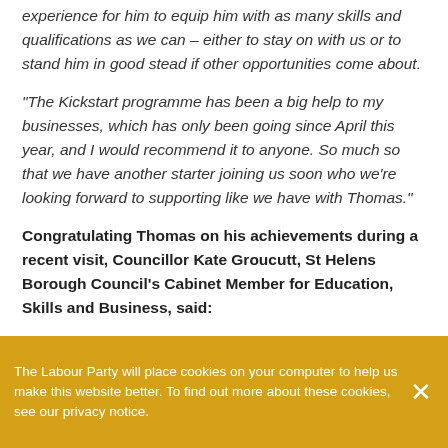experience for him to equip him with as many skills and qualifications as we can – either to stay on with us or to stand him in good stead if other opportunities come about.
"The Kickstart programme has been a big help to my businesses, which has only been going since April this year, and I would recommend it to anyone. So much so that we have another starter joining us soon who we're looking forward to supporting like we have with Thomas."
Congratulating Thomas on his achievements during a recent visit, Councillor Kate Groucutt, St Helens Borough Council's Cabinet Member for Education, Skills and Business, said:
The Labour Party will place cookies on your computer to help us make this website better. To find out more about these cookies, see our privacy notice.